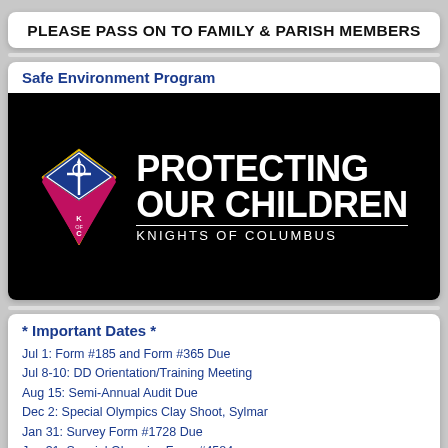PLEASE PASS ON TO FAMILY & PARISH MEMBERS
Safe Environment Program
[Figure (logo): Knights of Columbus 'Protecting Our Children' logo — black background with KofC shield emblem and white bold text reading 'PROTECTING OUR CHILDREN' with 'KNIGHTS OF COLUMBUS' below]
* Important Dates *
Jul 1: Form #185 and Form #365 Due
Jul 8-10: DD Orientation/Training Meeting
Aug 15: Semi-Annual Audit Due
Dec 2: Special Olympics Clay Shoot, Sylmar
Jan 31: Survey Form #1728 Due
Jan 31: Special Olympics Form #4584
Feb 15: Semi-Annual Audit Due